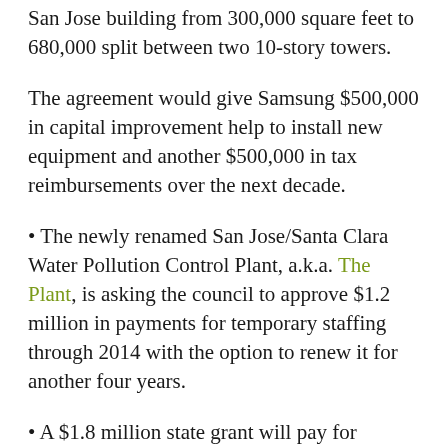San Jose building from 300,000 square feet to 680,000 split between two 10-story towers.
The agreement would give Samsung $500,000 in capital improvement help to install new equipment and another $500,000 in tax reimbursements over the next decade.
• The newly renamed San Jose/Santa Clara Water Pollution Control Plant, a.k.a. The Plant, is asking the council to approve $1.2 million in payments for temporary staffing through 2014 with the option to renew it for another four years.
• A $1.8 million state grant will pay for environmentally friendly storm water drains that